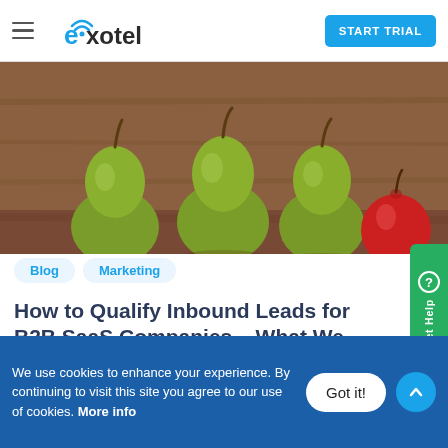≡  exotel  START TRIAL
[Figure (photo): Three green pears and one red apple lined up on a wooden surface]
Blog   Marketing
How to Qualify Inbound Leads for B2B SaaS Companies – What We do at Exotel
So you are a SaaS marketer who published a whitepaper on your company's website, distributed
We use cookies to enhance your experience. By continuing to visit this site you agree to our use of cookies. More info
Got it!